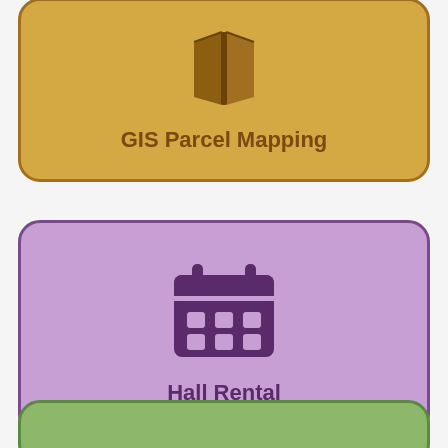[Figure (infographic): GIS Parcel Mapping card with golden/yellow background, brown border, map book icon in brown, and bold text 'GIS Parcel Mapping']
[Figure (infographic): Hall Rental card with purple/lavender background, dark purple border, calendar icon in dark purple, and bold text 'Hall Rental']
[Figure (infographic): Partially visible green card at bottom]